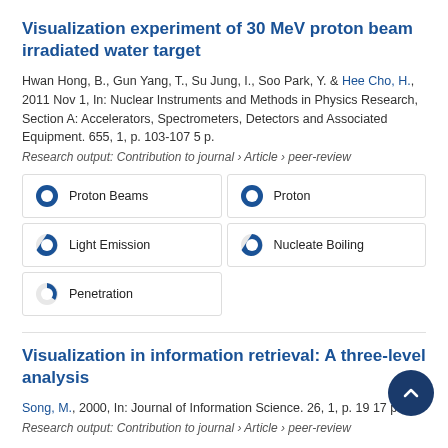Visualization experiment of 30 MeV proton beam irradiated water target
Hwan Hong, B., Gun Yang, T., Su Jung, I., Soo Park, Y. & Hee Cho, H., 2011 Nov 1, In: Nuclear Instruments and Methods in Physics Research, Section A: Accelerators, Spectrometers, Detectors and Associated Equipment. 655, 1, p. 103-107 5 p.
Research output: Contribution to journal › Article › peer-review
Proton Beams
Proton
Light Emission
Nucleate Boiling
Penetration
Visualization in information retrieval: A three-level analysis
Song, M., 2000, In: Journal of Information Science. 26, 1, p. 19 17 p.
Research output: Contribution to journal › Article › peer-review